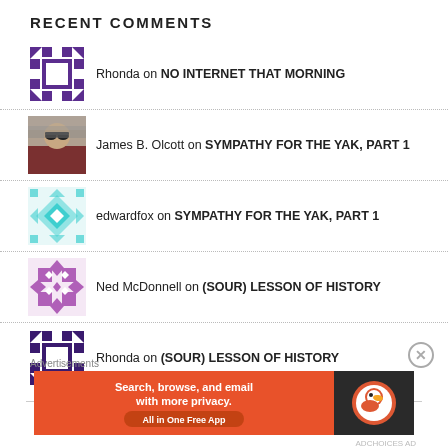RECENT COMMENTS
Rhonda on NO INTERNET THAT MORNING
James B. Olcott on SYMPATHY FOR THE YAK, PART 1
edwardfox on SYMPATHY FOR THE YAK, PART 1
Ned McDonnell on (SOUR) LESSON OF HISTORY
Rhonda on (SOUR) LESSON OF HISTORY
Advertisements
[Figure (infographic): DuckDuckGo advertisement banner: orange background with text 'Search, browse, and email with more privacy. All in One Free App' and DuckDuckGo logo on dark background]